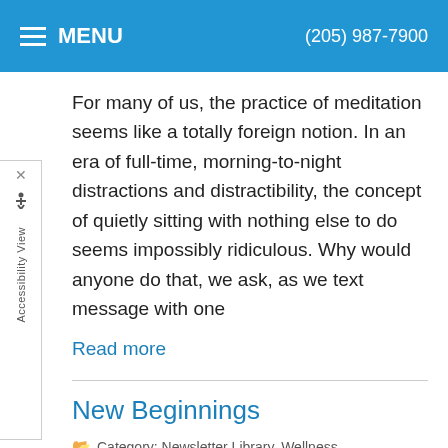MENU    (205) 987-7900
For many of us, the practice of meditation seems like a totally foreign notion. In an era of full-time, morning-to-night distractions and distractibility, the concept of quietly sitting with nothing else to do seems impossibly ridiculous. Why would anyone do that, we ask, as we text message with one
Read more
New Beginnings
Category: Newsletter Library, Wellness
The time is always right to begin returning to good health. Regardless of whether your issues involve